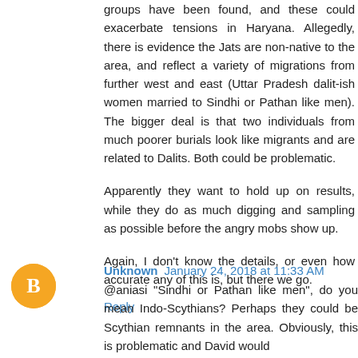groups have been found, and these could exacerbate tensions in Haryana. Allegedly, there is evidence the Jats are non-native to the area, and reflect a variety of migrations from further west and east (Uttar Pradesh dalit-ish women married to Sindhi or Pathan like men). The bigger deal is that two individuals from much poorer burials look like migrants and are related to Dalits. Both could be problematic.
Apparently they want to hold up on results, while they do as much digging and sampling as possible before the angry mobs show up.
Again, I don't know the details, or even how accurate any of this is, but there we go.
Reply
Unknown January 24, 2018 at 11:33 AM
@aniasi "Sindhi or Pathan like men", do you mean Indo-Scythians? Perhaps they could be Scythian remnants in the area. Obviously, this is problematic and David would